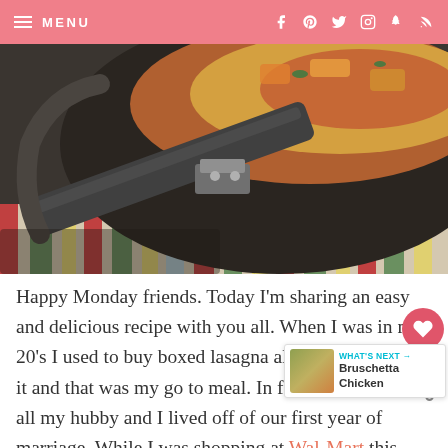MENU | social icons: facebook, pinterest, twitter, instagram, snapchat, rss
[Figure (photo): Close-up photo of a dark non-stick skillet/pan with a metal handle, containing a cheesy lasagna dish, resting on a colorful striped cloth/towel]
Happy Monday friends. Today I'm sharing an easy and delicious recipe with you all. When I was in my 20's I used to buy boxed lasagna all the time. I loved it and that was my go to meal. In fact I think that's all my hubby and I lived off of our first year of marriage. While I was shopping at Wal-Mart this past week, I noticed that Kraft Natural Cheese came in a larger 1 pound size and I couldn't...